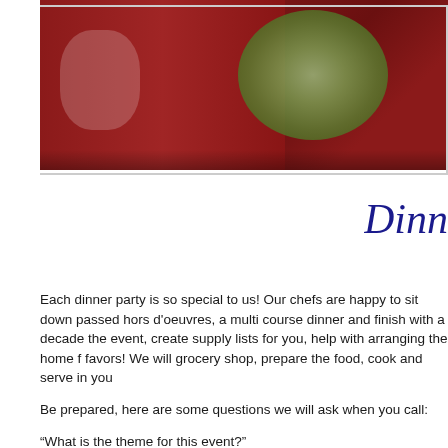[Figure (photo): Food photo showing a salad/lettuce in a bowl against a red background, partially cropped at top of page]
Dinn
Each dinner party is so special to us! Our chefs are happy to sit down passed hors d'oeuvres, a multi course dinner and finish with a decade the event, create supply lists for you, help with arranging the home f favors! We will grocery shop, prepare the food, cook and serve in you
Be prepared, here are some questions we will ask when you call:
“What is the theme for this event?”
“Would you like hors d’oeurves to start? How many courses would
“What type of cuisine would you like the menu to reflect?”
“Would you like the dinner to be served individually, family style o
“Would you like a wine tasting before dinner, wine with each cours